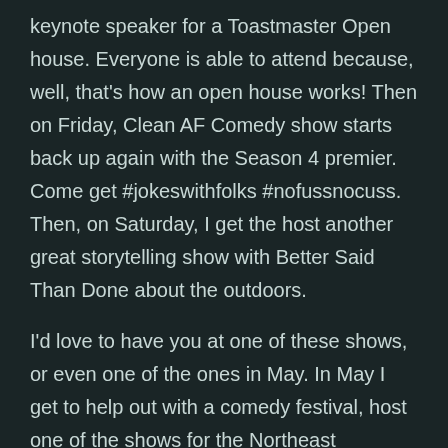keynote speaker for a Toastmaster Open house. Everyone is able to attend because, well, that's how an open house works! Then on Friday, Clean AF Comedy show starts back up again with the Season 4 premier. Come get #jokeswithfolks #nofussnocuss. Then, on Saturday, I get the host another great storytelling show with Better Said Than Done about the outdoors.
I'd love to have you at one of these shows, or even one of the ones in May. In May I get to help out with a comedy festival, host one of the shows for the Northeast Storytelling, and tell more stories and jokes for folks. Get links to these and more at : More